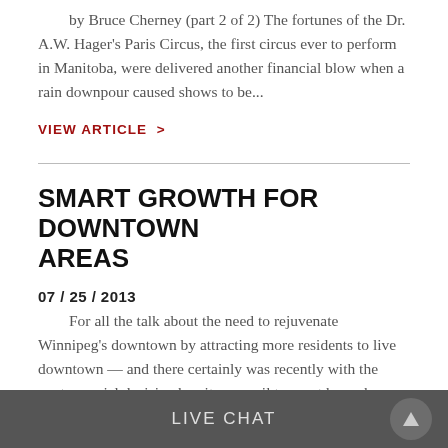by Bruce Cherney (part 2 of 2) The fortunes of the Dr. A.W. Hager's Paris Circus, the first circus ever to perform in Manitoba, were delivered another financial blow when a rain downpour caused shows to be...
VIEW ARTICLE  >
SMART GROWTH FOR DOWNTOWN AREAS
07 / 25 / 2013
For all the talk about the need to rejuvenate Winnipeg's downtown by attracting more residents to live downtown — and there certainly was recently with the controversial decision by city council to grant home buy...
VIEW ARTICLE  >
LIVE CHAT